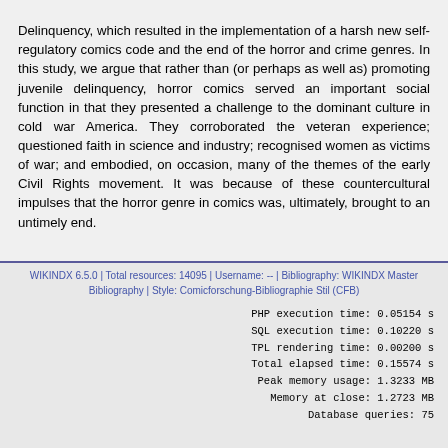Delinquency, which resulted in the implementation of a harsh new self-regulatory comics code and the end of the horror and crime genres. In this study, we argue that rather than (or perhaps as well as) promoting juvenile delinquency, horror comics served an important social function in that they presented a challenge to the dominant culture in cold war America. They corroborated the veteran experience; questioned faith in science and industry; recognised women as victims of war; and embodied, on occasion, many of the themes of the early Civil Rights movement. It was because of these countercultural impulses that the horror genre in comics was, ultimately, brought to an untimely end.
WIKINDX 6.5.0 | Total resources: 14095 | Username: -- | Bibliography: WIKINDX Master Bibliography | Style: Comicforschung-Bibliographie Stil (CFB)
PHP execution time: 0.05154 s
SQL execution time: 0.10220 s
TPL rendering time: 0.00200 s
Total elapsed time: 0.15574 s
Peak memory usage: 1.3233 MB
Memory at close: 1.2723 MB
Database queries: 75